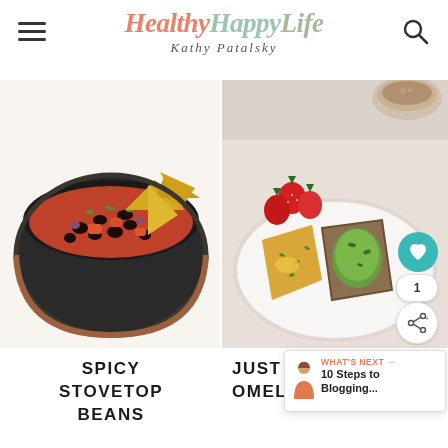HealthyHappyLife — Kathy Patalsky
[Figure (photo): Bowl of spicy stovetop beans with black beans in tomato sauce, tortilla chips, garnished with herbs, in a dark ceramic bowl on white background]
[Figure (photo): Plate with omelette, avocado toast slices, strawberries, with a cappuccino in background, on white ceramic plate]
SPICY STOVETOP BEANS
JUST OMELET